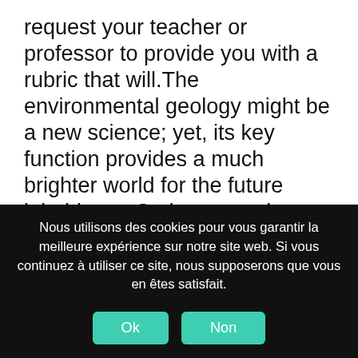request your teacher or professor to provide you with a rubric that will.The environmental geology might be a new science; yet, its key function provides a much brighter world for the future inhabitants.Gather enough evidence to support your case A geology research paper is one that zeros in on exploring the physical characteristics of the surroundings, including mountains and lakes.Most commonly, the APA formatting style is used, if no other instructions have been given.Abstract The following paper
Nous utilisons des cookies pour vous garantir la meilleure expérience sur notre site web. Si vous continuez à utiliser ce site, nous supposerons que vous en êtes satisfait.